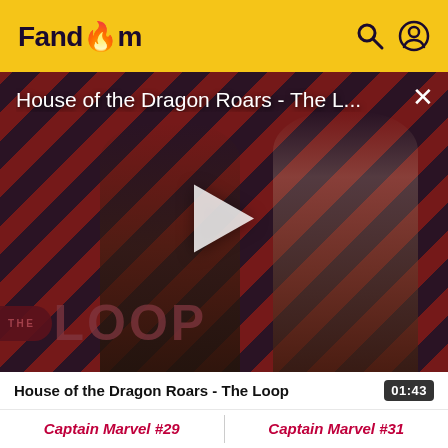Fandom
[Figure (screenshot): Video player thumbnail showing House of the Dragon characters against a red and black diagonal stripe background, with a play button in the center and 'THE LOOP' logo in the lower left. Title reads 'House of the Dragon Roars - The L...' with a close X button.]
House of the Dragon Roars – The Loop  01:43
Captain Marvel #29  |  Captain Marvel #31